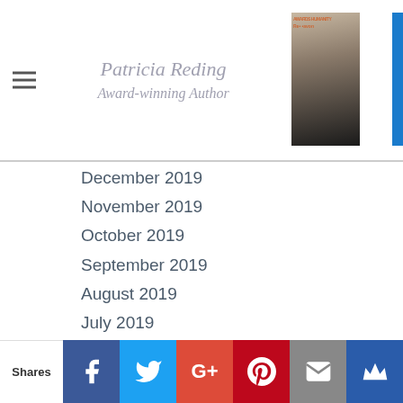Patricia Reding Award-winning Author
December 2019
November 2019
October 2019
September 2019
August 2019
July 2019
June 2019
May 2019
April 2019
March 2019
February 2019
January 2019
December 2018
October 2018
September 2018
Shares | Facebook | Twitter | Google+ | Pinterest | Email | Crown